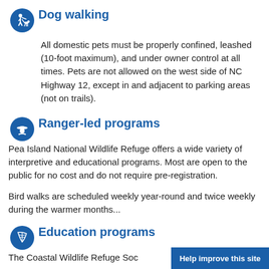Dog walking
All domestic pets must be properly confined, leashed (10-foot maximum), and under owner control at all times. Pets are not allowed on the west side of NC Highway 12, except in and adjacent to parking areas (not on trails).
Ranger-led programs
Pea Island National Wildlife Refuge offers a wide variety of interpretive and educational programs. Most are open to the public for no cost and do not require pre-registration.
Bird walks are scheduled weekly year-round and twice weekly during the warmer months...
Education programs
The Coastal Wildlife Refuge Soc…
Help improve this site